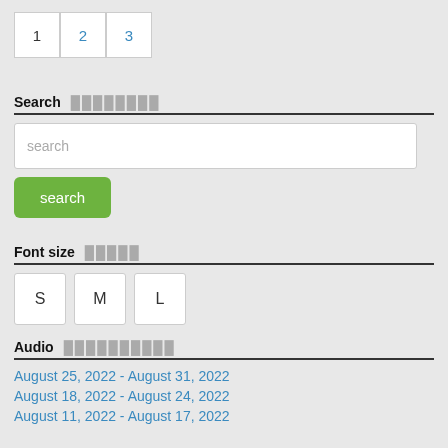1  2  3
Search  ████████
search
search
Font size  █████
S  M  L
Audio  ██████████
August 25, 2022 - August 31, 2022
August 18, 2022 - August 24, 2022
August 11, 2022 - August 17, 2022